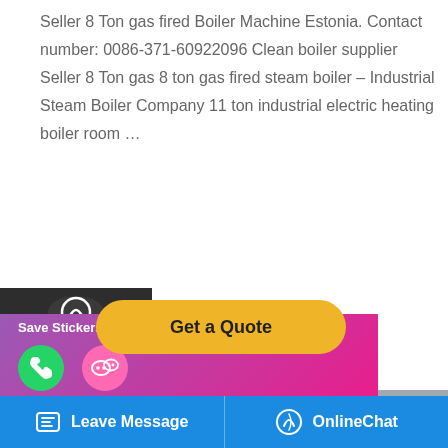Seller 8 Ton gas fired Boiler Machine Estonia. Contact number: 0086-371-60922096 Clean boiler supplier Seller 8 Ton gas 8 ton gas fired steam boiler – Industrial Steam Boiler Company 11 ton industrial electric heating boiler room …
[Figure (screenshot): Get a Quote button (yellow rounded), left sidebar with Chat/Email/Contact icons on dark background, industrial gas-fired boiler photo, WhatsApp sticker save bar, scroll-to-top button, and blue bottom navigation bar with Leave Message and OnlineChat options.]